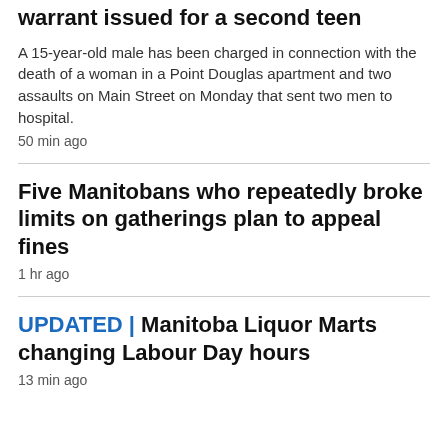warrant issued for a second teen
A 15-year-old male has been charged in connection with the death of a woman in a Point Douglas apartment and two assaults on Main Street on Monday that sent two men to hospital.
50 min ago
Five Manitobans who repeatedly broke limits on gatherings plan to appeal fines
1 hr ago
UPDATED | Manitoba Liquor Marts changing Labour Day hours
13 min ago
KITCHENER >